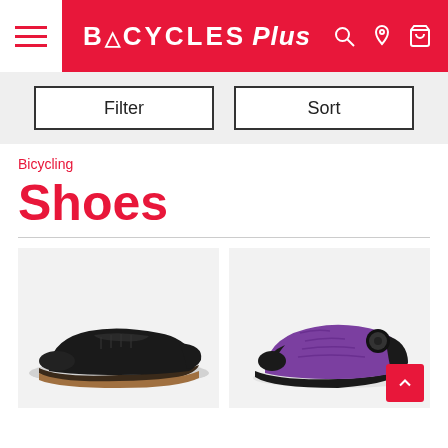Bicycles Plus
Filter
Sort
Bicycling
Shoes
[Figure (photo): Black cycling flat shoe on light gray background, side profile view facing left]
[Figure (photo): Purple/violet mountain bike shoe with BOA dial closure on light gray background, side profile view facing right]